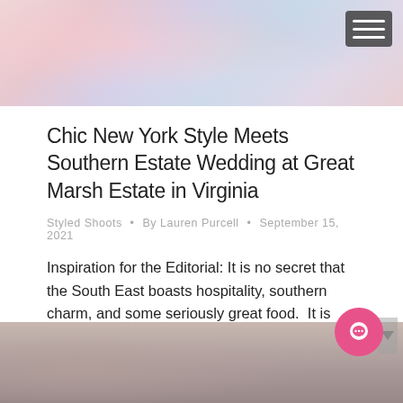[Figure (photo): Wedding table setting with soft pink, blue, and white tones. Floral decorations and tableware visible. Hamburger menu icon in top right corner.]
Chic New York Style Meets Southern Estate Wedding at Great Marsh Estate in Virginia
Styled Shoots • By Lauren Purcell • September 15, 2021
Inspiration for the Editorial: It is no secret that the South East boasts hospitality, southern charm, and some seriously great food.  It is also no secret that New York City is famous for the fashion, architecture, art, and it's incredible cultural mix and social scene.  So what happens when a girl from the south, falls...
[Figure (photo): Bottom portion of a photograph, partially visible. Appears to show a person, soft muted tones.]